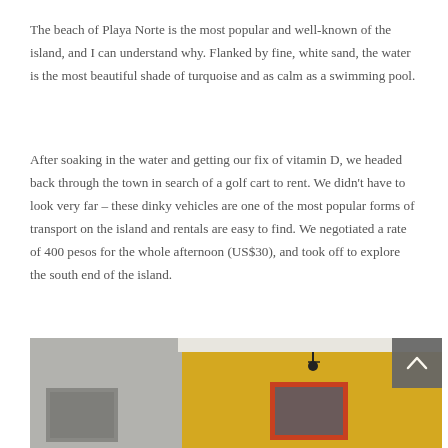The beach of Playa Norte is the most popular and well-known of the island, and I can understand why. Flanked by fine, white sand, the water is the most beautiful shade of turquoise and as calm as a swimming pool.
After soaking in the water and getting our fix of vitamin D, we headed back through the town in search of a golf cart to rent. We didn't have to look very far – these dinky vehicles are one of the most popular forms of transport on the island and rentals are easy to find. We negotiated a rate of 400 pesos for the whole afternoon (US$30), and took off to explore the south end of the island.
[Figure (photo): Colorful building facade with yellow and grey walls, windows with red/orange frames and white molding trim, and a wall-mounted lamp.]